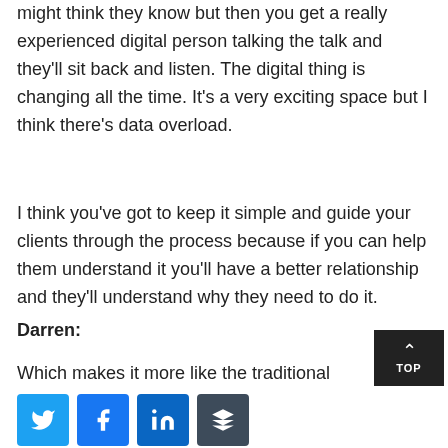might think they know but then you get a really experienced digital person talking the talk and they'll sit back and listen. The digital thing is changing all the time. It's a very exciting space but I think there's data overload.
I think you've got to keep it simple and guide your clients through the process because if you can help them understand it you'll have a better relationship and they'll understand why they need to do it.
Darren:
Which makes it more like the traditional